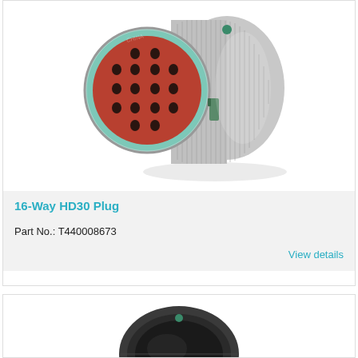[Figure (photo): A 16-Way HD30 Plug connector, silver metal cylindrical body with knurled grip ring, red circular insert face with 16 pin holes, green sealing gasket ring, viewed at an angle showing the front and side.]
16-Way HD30 Plug
Part No.: T440008673
View details
[Figure (photo): Partial view of a black HD30 series connector, showing the top portion of the connector body.]